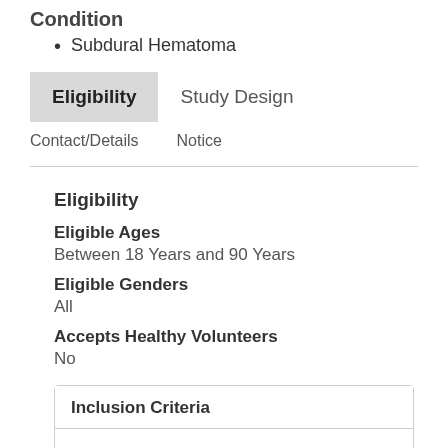Condition
Subdural Hematoma
Eligibility | Study Design | Contact/Details | Notice
Eligibility
Eligible Ages
Between 18 Years and 90 Years
Eligible Genders
All
Accepts Healthy Volunteers
No
| Inclusion Criteria |
| --- |
|  |